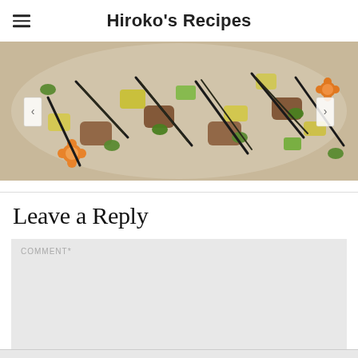Hiroko's Recipes
[Figure (photo): A colorful Japanese salad dish with edamame, carved carrots, yellow daikon, cucumber, brown mushrooms or chicken pieces, and black hijiki seaweed, served in a white bowl.]
Leave a Reply
COMMENT*